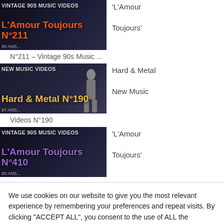[Figure (screenshot): Thumbnail for Vintage 90s Music Videos L'Amour Toujours N°211 with orange text on dark background]
'L'Amour Toujours'
N°211 – Vintage 90s Music ...
[Figure (screenshot): Thumbnail for Hard & Metal New Music Videos N°190 with yellow text on dark background with person silhouette]
Hard & Metal New Music Videos N°190
Videos N°190
[Figure (screenshot): Thumbnail for Vintage 90s Music Videos L'Amour Toujours N°410 with purple text on dark background]
'L'Amour Toujours'
We use cookies on our website to give you the most relevant experience by remembering your preferences and repeat visits. By clicking "ACCEPT ALL", you consent to the use of ALL the cookies. However, you may visit "Cookie Settings" to provide a controlled consent.
Cookie Settings
REJECT ALL
ACCEPT ALL